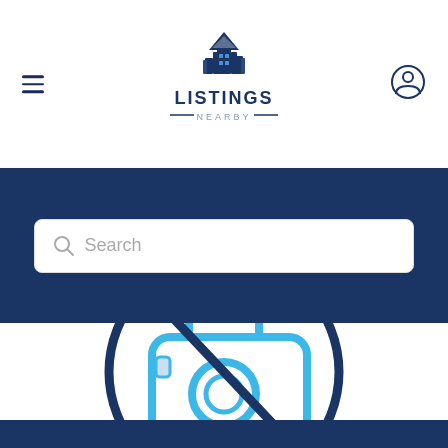[Figure (logo): Listings Nearby logo with buildings/house icon and text LISTINGS NEARBY]
[Figure (screenshot): Search bar UI with magnifying glass icon and placeholder text 'Search' on a dark navy blue background]
[Figure (illustration): No photo available icon: a camera symbol with a diagonal line through it inside a circle, in blue tones on white background]